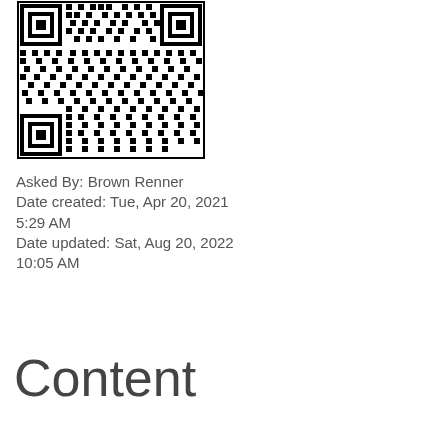[Figure (other): QR code image, black and white matrix barcode]
Asked By: Brown Renner
Date created: Tue, Apr 20, 2021 5:29 AM
Date updated: Sat, Aug 20, 2022 10:05 AM
Content